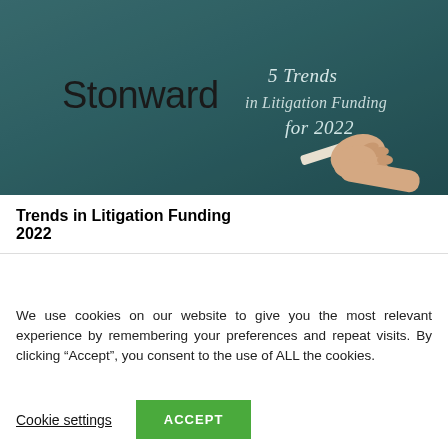[Figure (photo): Chalkboard with a hand writing '5 Trends in Litigation Funding for 2022' in chalk, with 'Stonward' logo text on the left side]
Trends in Litigation Funding 2022
We use cookies on our website to give you the most relevant experience by remembering your preferences and repeat visits. By clicking “Accept”, you consent to the use of ALL the cookies.
Cookie settings  ACCEPT